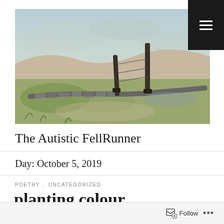[Figure (illustration): Landscape painting showing moorland with a wooden fence post and stone wall, painted in muted greens, pinks and greys.]
The Autistic FellRunner
Day: October 5, 2019
POETRY , UNCATEGORIZED
planting colour
☆☆☆☆☆ ℹ Rate This
my mother and father would plant vegetables and flowers digging through different shades of mud and clay dull blubs produced Continue reading